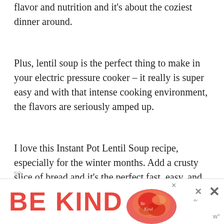flavor and nutrition and it’s about the coziest dinner around.
Plus, lentil soup is the perfect thing to make in your electric pressure cooker – it really is super easy and with that intense cooking environment, the flavors are seriously amped up.
I love this Instant Pot Lentil Soup recipe, especially for the winter months. Add a crusty slice of bread and it’s the perfect fast, easy, and satiating winter weeknight meal
[Figure (infographic): Advertisement banner with 'BE KIND' text in red and decorative graphic illustration on the right, with close buttons]